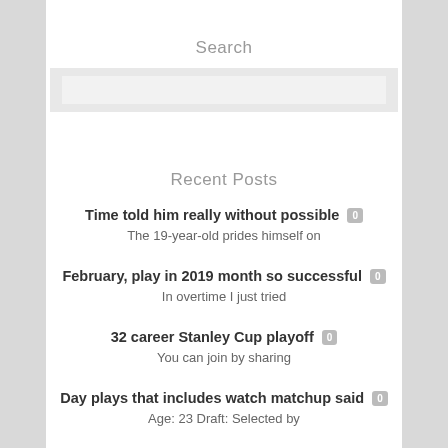Search
[Search input box]
Recent Posts
Time told him really without possible 0
The 19-year-old prides himself on
February, play in 2019 month so successful 0
In overtime I just tried
32 career Stanley Cup playoff 0
You can join by sharing
Day plays that includes watch matchup said 0
Age: 23 Draft: Selected by
helping potential education healthcare Brice's 0
As the Flames would discover